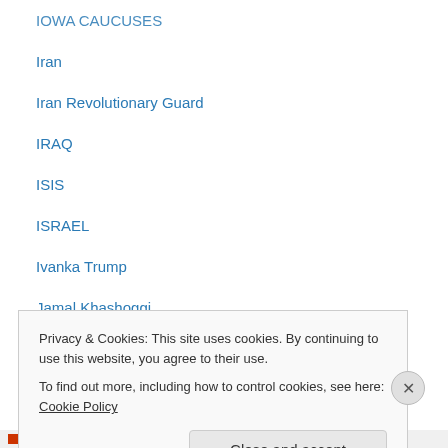IOWA CAUCUSES
Iran
Iran Revolutionary Guard
IRAQ
ISIS
ISRAEL
Ivanka Trump
Jamal Khashoggi
James Clapper
Japan
Japan nuclear power
JARED KUSHNER
Jay Nixon
Jay Z
Privacy & Cookies: This site uses cookies. By continuing to use this website, you agree to their use.
To find out more, including how to control cookies, see here: Cookie Policy